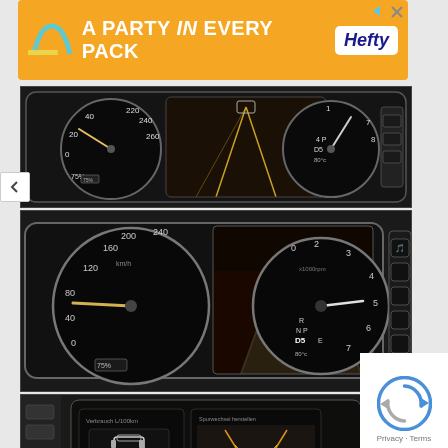[Figure (screenshot): Advertisement banner: orange background with 'A PARTY in EVERY PACK' text and Hefty logo. Navigation arrows and close icons visible.]
[Figure (photo): Car dashboard instrument cluster showing two analog gauges (speedometer 0-260 km/h, tachometer) with a digital display in center showing road view, night driving camera feed. Gear selector showing D5, temperature 80°C, fuel 75%.]
[Figure (photo): Close-up of Mercedes-Benz digital instrument cluster with two large analog-style gauges. Left speedometer shows 200 km/h area, right tachometer. Center screen shows night vision camera view of dark road. Display shows R, N, P, D5, E gear positions, 80°C temperature, 75% fuel level.]
[Figure (photo): Car interior dashboard view showing infotainment center screen with two panels: left showing 'Verbrauch L/100km' (fuel consumption) with car diagram, right showing 'Spurwechsel herstellen' with backup camera view showing parking lines.]
[Figure (logo): Google reCAPTCHA icon with Privacy and Terms links below]